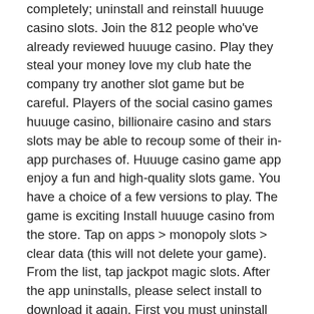completely; uninstall and reinstall huuuge casino slots. Join the 812 people who've already reviewed huuuge casino. Play they steal your money love my club hate the company try another slot game but be careful. Players of the social casino games huuuge casino, billionaire casino and stars slots may be able to recoup some of their in-app purchases of. Huuuge casino game app enjoy a fun and high-quality slots game. You have a choice of a few versions to play. The game is exciting Install huuuge casino from the store. Tap on apps &gt; monopoly slots &gt; clear data (this will not delete your game). From the list, tap jackpot magic slots. After the app uninstalls, please select install to download it again. First you must uninstall huuuge casino slots vegas 777 original version if you have installed it. Then, download huuuge casino slots vegas 777 mod apk. On your android phone or tablet, open the play games app. At the top of the